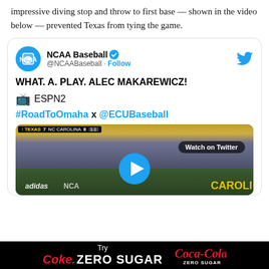impressive diving stop and throw to first base — shown in the video below — prevented Texas from tying the game.
[Figure (screenshot): Embedded tweet from NCAA Baseball (@NCAABaseball) with verified badge and Follow button, showing tweet text: 'WHAT. A. PLAY. ALEC MAKAREWICZ! 📺 ESPN2 #RoadToOmaha x @ECUBaseball' with a video thumbnail of a baseball game with scoreboard showing TEXAS 7 NC CAROLINA 8, and a 'Watch on Twitter' badge and play button overlay.]
[Figure (infographic): Advertisement bar: Try Coke. ZERO SUGAR with Coca-Cola Zero Sugar logo on black background.]